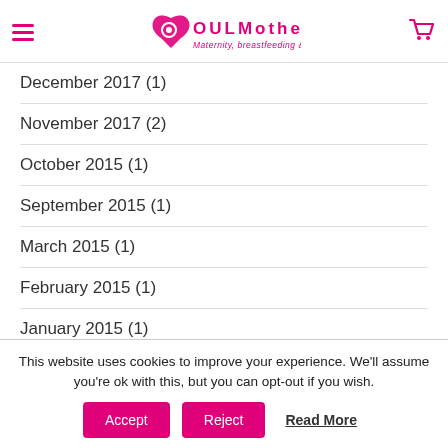SOULMothers Maternity, breastfeeding & beyond
December 2017 (1)
November 2017 (2)
October 2015 (1)
September 2015 (1)
March 2015 (1)
February 2015 (1)
January 2015 (1)
This website uses cookies to improve your experience. We'll assume you're ok with this, but you can opt-out if you wish.
Accept  Reject  Read More